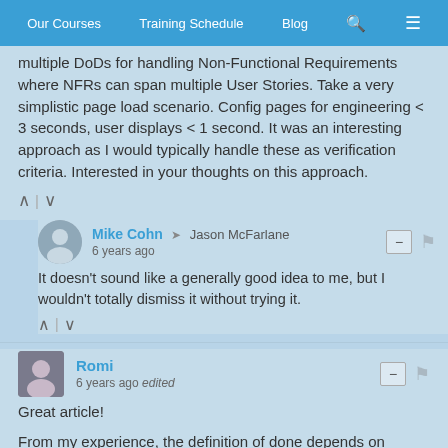Our Courses | Training Schedule | Blog
multiple DoDs for handling Non-Functional Requirements where NFRs can span multiple User Stories. Take a very simplistic page load scenario. Config pages for engineering < 3 seconds, user displays < 1 second. It was an interesting approach as I would typically handle these as verification criteria. Interested in your thoughts on this approach.
Mike Cohn → Jason McFarlane
6 years ago
It doesn't sound like a generally good idea to me, but I wouldn't totally dismiss it without trying it.
Romi
6 years ago edited
Great article!

From my experience, the definition of done depends on context.